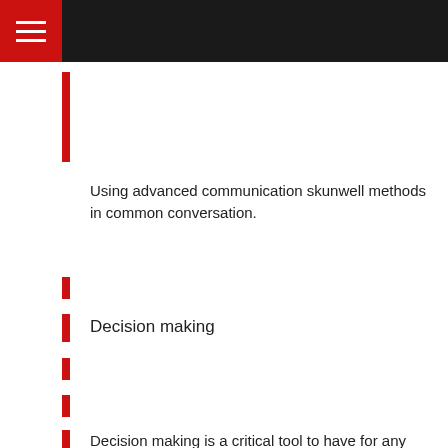Using advanced communication skunwell methods in common conversation.
Decision making
Decision making is a critical tool to have for any aspiring enterprise leader. When in a position of significance, a split-second determination can have super consequence. Attaining the skin poor health of making quick selections that work within the choice-maker's favour can go an extended way in helping achieve targets and goals.